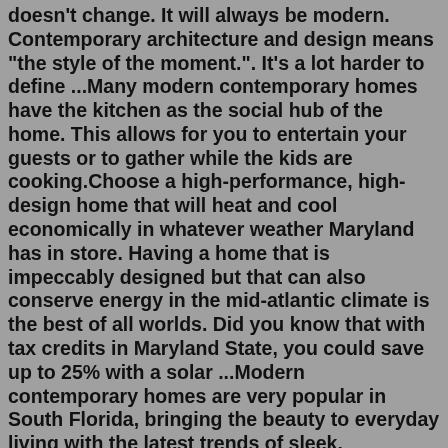doesn't change. It will always be modern. Contemporary architecture and design means "the style of the moment.". It's a lot harder to define ...Many modern contemporary homes have the kitchen as the social hub of the home. This allows for you to entertain your guests or to gather while the kids are cooking.Choose a high-performance, high-design home that will heat and cool economically in whatever weather Maryland has in store. Having a home that is impeccably designed but that can also conserve energy in the mid-atlantic climate is the best of all worlds. Did you know that with tax credits in Maryland State, you could save up to 25% with a solar ...Modern contemporary homes are very popular in South Florida, bringing the beauty to everyday living with the latest trends of sleek, contemporary design. A modern-style home refers to the modernist architecture of the early and mid-20th century, but over time, many architects felt modern houses gave off a cold and unfriendly feel. ...Modern Tiny Living is the first custom tiny home building